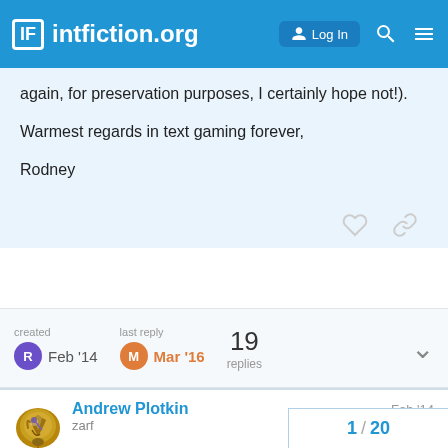IF intfiction.org  Log In
again, for preservation purposes, I certainly hope not!).
Warmest regards in text gaming forever,
Rodney
created Feb '14  last reply Mar '16  19 replies
Andrew Plotkin zarf  Feb '14
You're talking about the interpreters that came in the grey-box editions for PC?
1 / 20